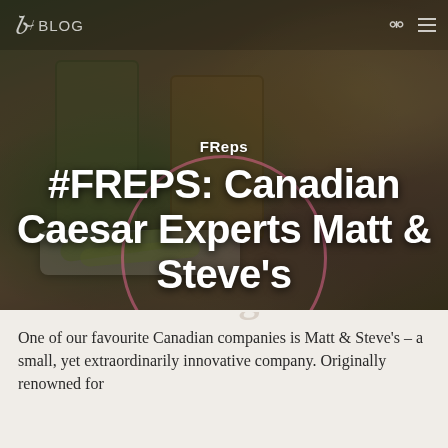[Figure (photo): Hero image of a food spread featuring jars of Matt & Steve's Canadian Caesar condiments including Asparagoose pickled asparagus, alongside asparagus spears on a white plate, dark jars, figs, and cheese on a wooden table. A pink circular design overlay is visible. Navigation bar at top with stylized 'F' logo and BLOG text.]
F / BLOG
FReps
#FREPS: Canadian Caesar Experts Matt & Steve's
One of our favourite Canadian companies is Matt & Steve's – a small, yet extraordinarily innovative company. Originally renowned for